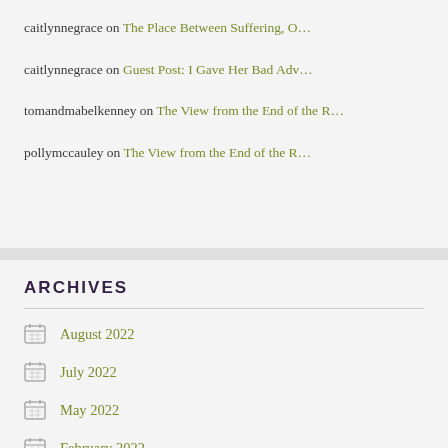caitlynnegrace on The Place Between Suffering, O…
caitlynnegrace on Guest Post: I Gave Her Bad Adv…
tomandmabelkenney on The View from the End of the R…
pollymccauley on The View from the End of the R…
ARCHIVES
August 2022
July 2022
May 2022
February 2022